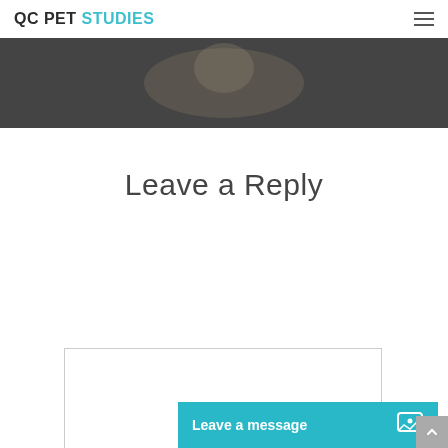QC PET STUDIES
[Figure (photo): Dark banner image showing a pet/animal scene]
Leave a Reply
[Figure (screenshot): Empty comment text area input box with border]
Leave a message